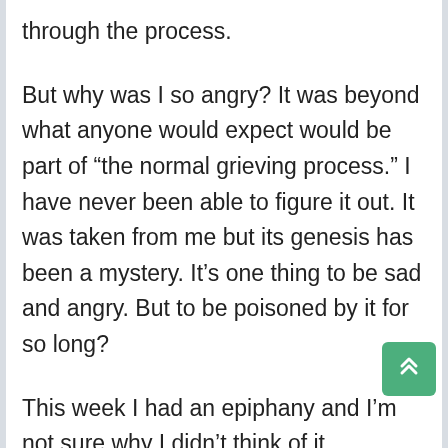through the process.
But why was I so angry? It was beyond what anyone would expect would be part of “the normal grieving process.” I have never been able to figure it out. It was taken from me but its genesis has been a mystery. It’s one thing to be sad and angry. But to be poisoned by it for so long?
This week I had an epiphany and I’m not sure why I didn’t think of it